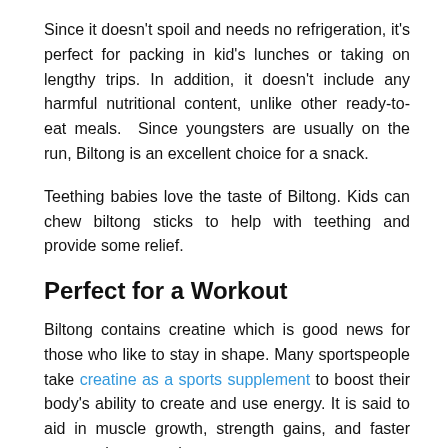Since it doesn't spoil and needs no refrigeration, it's perfect for packing in kid's lunches or taking on lengthy trips. In addition, it doesn't include any harmful nutritional content, unlike other ready-to-eat meals. Since youngsters are usually on the run, Biltong is an excellent choice for a snack.
Teething babies love the taste of Biltong. Kids can chew biltong sticks to help with teething and provide some relief.
Perfect for a Workout
Biltong contains creatine which is good news for those who like to stay in shape. Many sportspeople take creatine as a sports supplement to boost their body's ability to create and use energy. It is said to aid in muscle growth, strength gains, and faster post-workout muscle recovery.
Conclusion